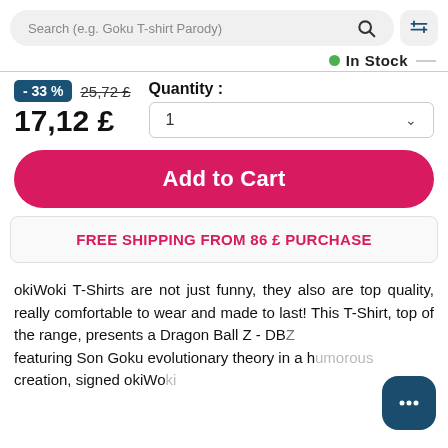Search (e.g. Goku T-shirt Parody)
In Stock
- 33 %  25,72 £
17,12 £   Quantity : 1
Add to Cart
FREE SHIPPING FROM 86 £ PURCHASE
okiWoki T-Shirts are not just funny, they also are top quality, really comfortable to wear and made to last! This T-Shirt, top of the range, presents a Dragon Ball Z - DBZ featuring Son Goku evolutionary theory in a h... creation, signed okiWo...